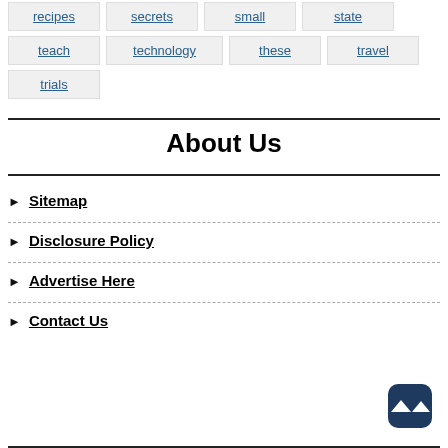recipes
secrets
small
state
teach
technology
these
travel
trials
About Us
Sitemap
Disclosure Policy
Advertise Here
Contact Us